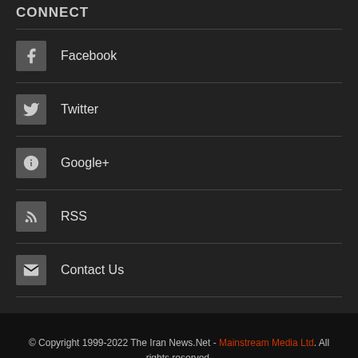CONNECT
Facebook
Twitter
Google+
RSS
Contact Us
© Copyright 1999-2022 The Iran News.Net - Mainstream Media Ltd. All rights reserved.